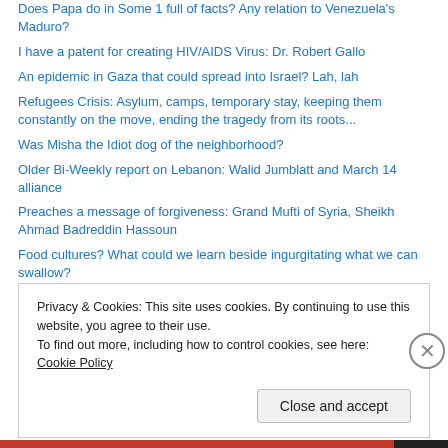Does Papa do in Some 1 full of facts? Any relation to Venezuela's Maduro?
I have a patent for creating HIV/AIDS Virus: Dr. Robert Gallo
An epidemic in Gaza that could spread into Israel? Lah, lah
Refugees Crisis: Asylum, camps, temporary stay, keeping them constantly on the move, ending the tragedy from its roots...
Was Misha the Idiot dog of the neighborhood?
Older Bi-Weekly report on Lebanon: Walid Jumblatt and March 14 alliance
Preaches a message of forgiveness: Grand Mufti of Syria, Sheikh Ahmad Badreddin Hassoun
Food cultures? What could we learn beside ingurgitating what we can swallow?
Sex for a Sufi
Privacy & Cookies: This site uses cookies. By continuing to use this website, you agree to their use.
To find out more, including how to control cookies, see here: Cookie Policy
Close and accept